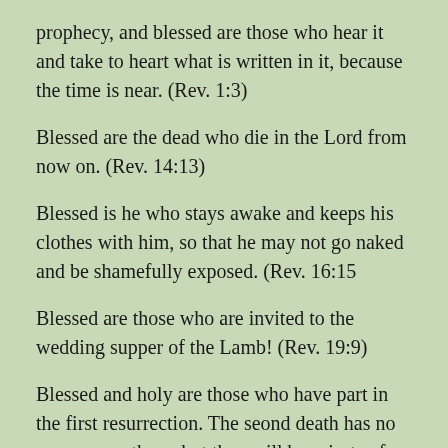prophecy, and blessed are those who hear it and take to heart what is written in it, because the time is near. (Rev. 1:3)
Blessed are the dead who die in the Lord from now on. (Rev. 14:13)
Blessed is he who stays awake and keeps his clothes with him, so that he may not go naked and be shamefully exposed. (Rev. 16:15
Blessed are those who are invited to the wedding supper of the Lamb! (Rev. 19:9)
Blessed and holy are those who have part in the first resurrection. The seond death has no power over them, but they will be priests of God and of Christ and will reign with him for a thousand years. (Rev. 20:6)
Blessed is he who keeps the words of the prophecy in this book. (Rev. 22:7)
Blessed are those who wash their robes, that they may